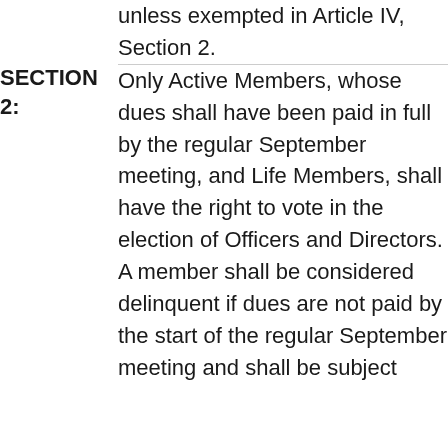unless exempted in Article IV, Section 2.
SECTION 2:
Only Active Members, whose dues shall have been paid in full by the regular September meeting, and Life Members, shall have the right to vote in the election of Officers and Directors. A member shall be considered delinquent if dues are not paid by the start of the regular September meeting and shall be subject